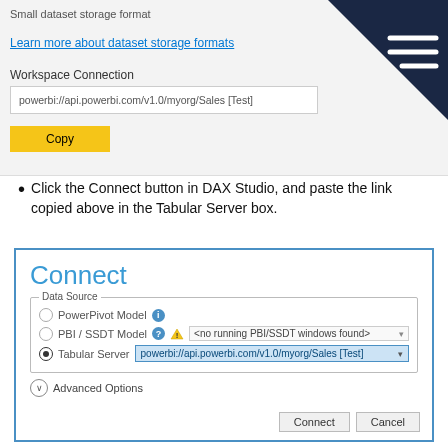Small dataset storage format
Learn more about dataset storage formats
Workspace Connection
powerbi://api.powerbi.com/v1.0/myorg/Sales [Test]
Copy
Click the Connect button in DAX Studio, and paste the link copied above in the Tabular Server box.
[Figure (screenshot): DAX Studio Connect dialog showing Data Source options: PowerPivot Model, PBI/SSDT Model (no running windows found), and Tabular Server with powerbi://api.powerbi.com/v1.0/myorg/Sales [Test] filled in. Advanced Options row and Connect/Cancel buttons at bottom.]